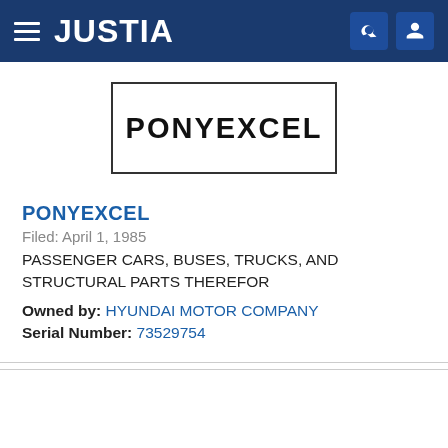JUSTIA
[Figure (logo): PONYEXCEL trademark logo in a black border rectangle with hand-drawn/stamp style lettering]
PONYEXCEL
Filed: April 1, 1985
PASSENGER CARS, BUSES, TRUCKS, AND STRUCTURAL PARTS THEREFOR
Owned by: HYUNDAI MOTOR COMPANY
Serial Number: 73529754